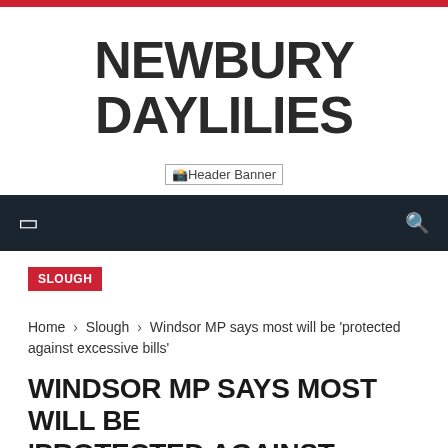NEWBURY DAYLILIES
[Figure (other): Header Banner image placeholder]
SLOUGH
Home › Slough › Windsor MP says most will be 'protected against excessive bills'
WINDSOR MP SAYS MOST WILL BE 'PROTECTED AGAINST EXCESSIVE